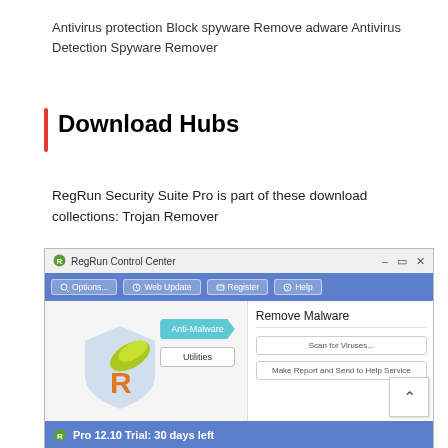Antivirus protection Block spyware Remove adware Antivirus Detection Spyware Remover
Download Hubs
RegRun Security Suite Pro is part of these download collections: Trojan Remover
[Figure (screenshot): RegRun Control Center application window showing Anti-Malware and Utilities navigation buttons on the left panel, Remove Malware section on the right with Scan for Viruses and Make Report and Send to Help Service buttons. Status bar shows Pro 12.10 Trial: 30 days left.]